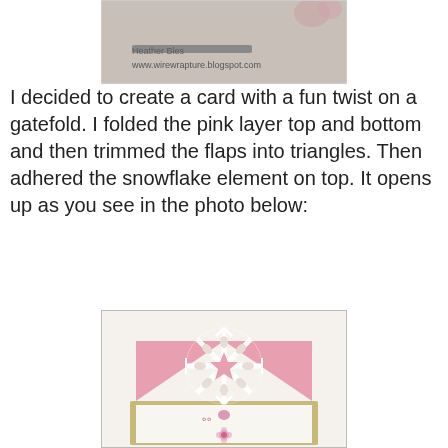[Figure (photo): Top portion of a blog card image showing partial text and URL 'www.wirewrapture.blogspot.com' on a floral background]
I decided to create a card with a fun twist on a gatefold.  I folded the pink layer top and bottom and then trimmed the flaps into triangles.  Then adhered the snowflake element on top.  It opens up as you see in the photo below:
[Figure (photo): Photo of an open gatefold card with pink triangular flaps and a white paper snowflake element on top, with decorative floral interior]